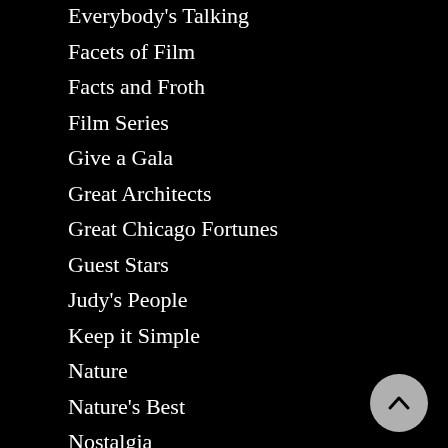Everybody's Talking
Facets of Film
Facts and Froth
Film Series
Give a Gala
Great Architects
Great Chicago Fortunes
Guest Stars
Judy's People
Keep it Simple
Nature
Nature's Best
Nostalgia
NOW!
On the Horizon
Parenting
Perennial Biker
Photo Journal